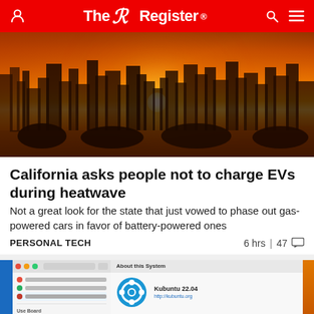The Register
[Figure (photo): City skyline silhouetted against a bright orange and yellow sunset sky, with a glowing white sun visible near the horizon line]
California asks people not to charge EVs during heatwave
Not a great look for the state that just vowed to phase out gas-powered cars in favor of battery-powered ones
PERSONAL TECH  6 hrs | 47
[Figure (screenshot): Screenshot of a Linux Kubuntu 22.04 'About This System' dialog on a desktop interface]